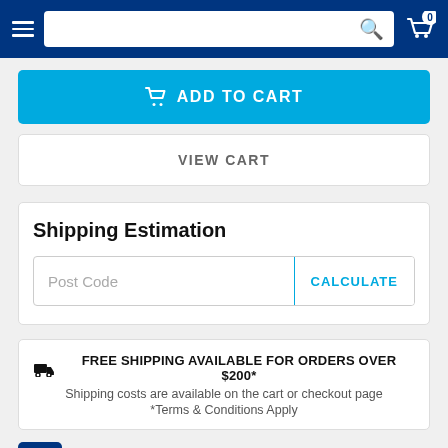Navigation bar with hamburger menu, search bar, and cart (0 items)
ADD TO CART
VIEW CART
Shipping Estimation
Post Code | CALCULATE
FREE SHIPPING AVAILABLE FOR ORDERS OVER $200*
Shipping costs are available on the cart or checkout page
*Terms & Conditions Apply